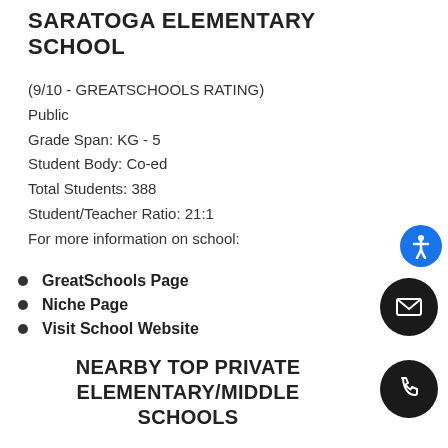SARATOGA ELEMENTARY SCHOOL
(9/10 - GREATSCHOOLS RATING)
Public
Grade Span: KG - 5
Student Body: Co-ed
Total Students: 388
Student/Teacher Ratio: 21:1
For more information on school:
GreatSchools Page
Niche Page
Visit School Website
NEARBY TOP PRIVATE ELEMENTARY/MIDDLE SCHOOLS